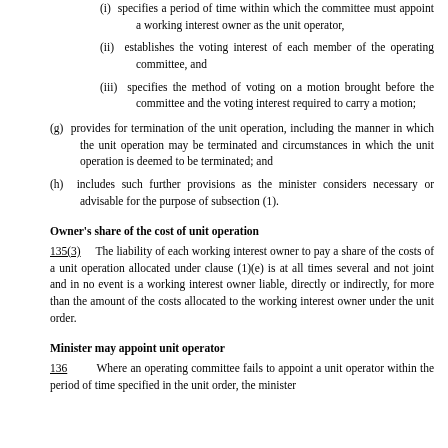(i) specifies a period of time within which the committee must appoint a working interest owner as the unit operator,
(ii) establishes the voting interest of each member of the operating committee, and
(iii) specifies the method of voting on a motion brought before the committee and the voting interest required to carry a motion;
(g) provides for termination of the unit operation, including the manner in which the unit operation may be terminated and circumstances in which the unit operation is deemed to be terminated; and
(h) includes such further provisions as the minister considers necessary or advisable for the purpose of subsection (1).
Owner's share of the cost of unit operation
135(3)	The liability of each working interest owner to pay a share of the costs of a unit operation allocated under clause (1)(e) is at all times several and not joint and in no event is a working interest owner liable, directly or indirectly, for more than the amount of the costs allocated to the working interest owner under the unit order.
Minister may appoint unit operator
136	Where an operating committee fails to appoint a unit operator within the period of time specified in the unit order, the minister